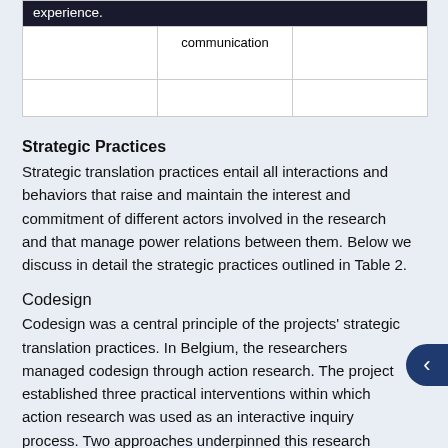|  | communication |  |
| --- | --- | --- |
|  |  |  |
Strategic Practices
Strategic translation practices entail all interactions and behaviors that raise and maintain the interest and commitment of different actors involved in the research and that manage power relations between them. Below we discuss in detail the strategic practices outlined in Table 2.
Codesign
Codesign was a central principle of the projects' strategic translation practices. In Belgium, the researchers managed codesign through action research. The project established three practical interventions within which action research was used as an interactive inquiry process. Two approaches underpinned this research